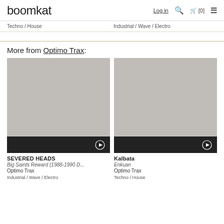boomkat
Techno / House | Industrial / Wave / Electro
More from Optimo Trax:
[Figure (photo): Album artwork placeholder grey image for SEVERED HEADS]
SEVERED HEADS
Big Saints Reward (1988-1990 D...
Optimo Trax
Industrial / Wave / Electro
[Figure (photo): Album artwork placeholder grey image for Kalbata]
Kalbata
Enkuan
Optimo Trax
Techno / House